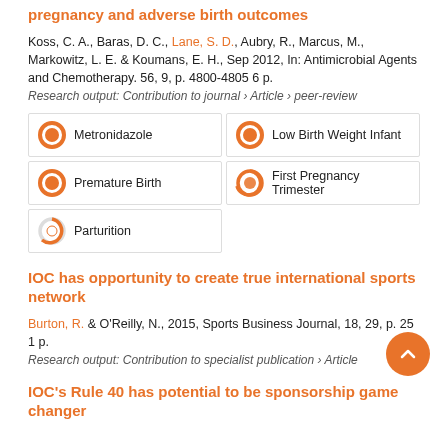pregnancy and adverse birth outcomes
Koss, C. A., Baras, D. C., Lane, S. D., Aubry, R., Marcus, M., Markowitz, L. E. & Koumans, E. H., Sep 2012, In: Antimicrobial Agents and Chemotherapy. 56, 9, p. 4800-4805 6 p.
Research output: Contribution to journal › Article › peer-review
[Figure (infographic): Five keyword badges with donut/circle icons: Metronidazole (100%), Low Birth Weight Infant (100%), Premature Birth (100%), First Pregnancy Trimester (75%), Parturition (65%)]
IOC has opportunity to create true international sports network
Burton, R. & O'Reilly, N., 2015, Sports Business Journal, 18, 29, p. 25 1 p.
Research output: Contribution to specialist publication › Article
IOC's Rule 40 has potential to be sponsorship game changer